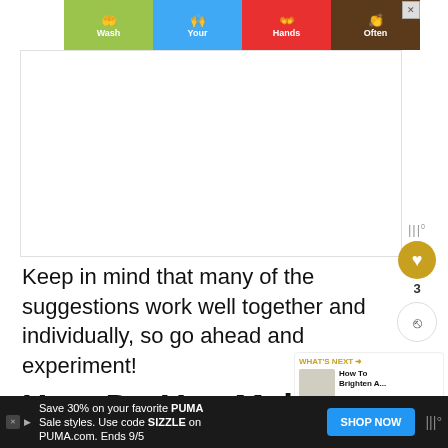[Figure (illustration): Colorful 'Wash Your Hands Often' advertisement banner with four tiles showing hand-washing illustrations in green, blue, red, and dark brown/yellow backgrounds. Has an X close button in top right corner.]
[Figure (other): Empty white content area with light border.]
Keep in mind that many of the suggestions work well together and individually, so go ahead and experiment!
How Do You Make a Corner
[Figure (other): What's Next widget showing 'How To Brighten A...' with thumbnail image of a bright room.]
[Figure (other): Bottom advertisement bar: Save 30% on your favorite PUMA Sale styles. Use code SIZZLE on PUMA.com. Ends 9/5. SHOP NOW button.]